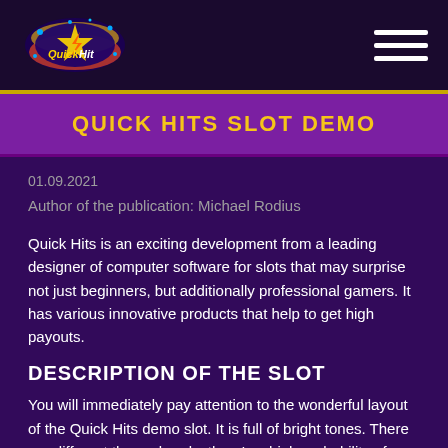[Figure (logo): Quick Hit casino slots logo with colorful star and lightning bolt design on dark background]
Navigation bar with Quick Hit logo and hamburger menu
QUICK HITS SLOT DEMO
01.09.2021
Author of the publication: Michael Rodius
Quick Hits is an exciting development from a leading designer of computer software for slots that may surprise not just beginners, but additionally professional gamers. It has various innovative products that help to get high payouts.
DESCRIPTION OF THE SLOT
You will immediately pay attention to the wonderful layout of the Quick Hits demo slot. It is full of bright tones. There are different themed-reels. there's a high probability of landing winning symbols and earning good money. it is possible to